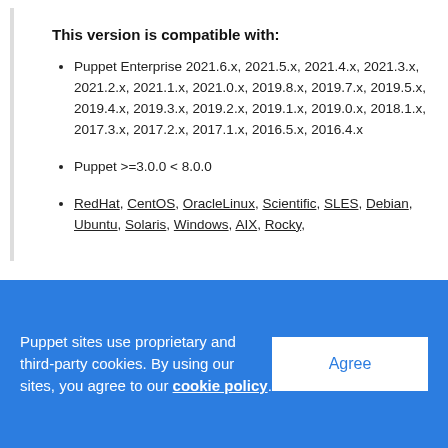This version is compatible with:
Puppet Enterprise 2021.6.x, 2021.5.x, 2021.4.x, 2021.3.x, 2021.2.x, 2021.1.x, 2021.0.x, 2019.8.x, 2019.7.x, 2019.5.x, 2019.4.x, 2019.3.x, 2019.2.x, 2019.1.x, 2019.0.x, 2018.1.x, 2017.3.x, 2017.2.x, 2017.1.x, 2016.5.x, 2016.4.x
Puppet >=3.0.0 < 8.0.0
RedHat, CentOS, OracleLinux, Scientific, SLES, Debian, Ubuntu, Solaris, Windows, AIX, Rocky, Almalinux
Puppet sites use proprietary and third-party cookies. By using our sites, you agree to our cookie policy.